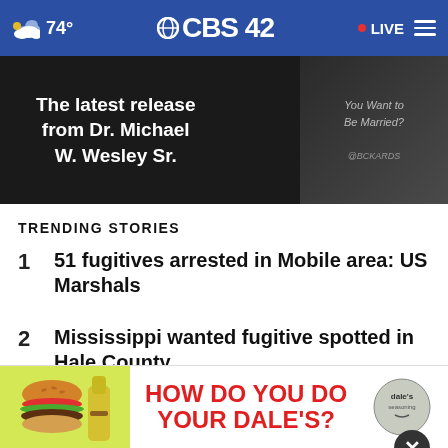74° CBS42 LIVE
[Figure (photo): Advertisement banner: The latest release from Dr. Michael W. Wesley Sr. with book cover image on dark background]
TRENDING STORIES
1 51 fugitives arrested in Mobile area: US Marshals
2 Mississippi wanted fugitive spotted in Hale County
3 'Moneyball' player from Alabama back on the diamond
4 M... S...
[Figure (photo): Dale's Seasoning advertisement: HOW DO YOU DO YOUR DALE'S? with burger image and Dale's seasoning logo]